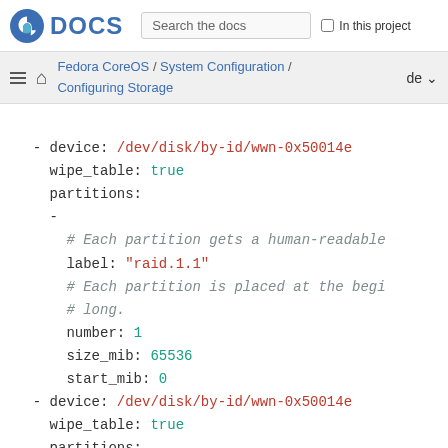Fedora DOCS | Search the docs | In this project
Fedora CoreOS / System Configuration / Configuring Storage | de
- device: /dev/disk/by-id/wwn-0x50014e
  wipe_table: true
  partitions:
  -
    # Each partition gets a human-readable
    label: "raid.1.1"
    # Each partition is placed at the begi
    # long.
    number: 1
    size_mib: 65536
    start_mib: 0
- device: /dev/disk/by-id/wwn-0x50014e
  wipe_table: true
  partitions:
    label: "raid.1.2"